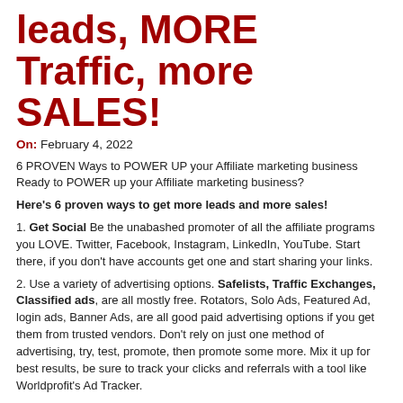leads, MORE Traffic, more SALES!
On: February 4, 2022
6 PROVEN Ways to POWER UP your Affiliate marketing business Ready to POWER up your Affiliate marketing business?
Here's 6 proven ways to get more leads and more sales!
1. Get Social Be the unabashed promoter of all the affiliate programs you LOVE. Twitter, Facebook, Instagram, LinkedIn, YouTube. Start there, if you don't have accounts get one and start sharing your links.
2. Use a variety of advertising options. Safelists, Traffic Exchanges, Classified ads, are all mostly free. Rotators, Solo Ads, Featured Ad, login ads, Banner Ads, are all good paid advertising options if you get them from trusted vendors. Don't rely on just one method of advertising, try, test, promote, then promote some more. Mix it up for best results, be sure to track your clicks and referrals with a tool like Worldprofit's Ad Tracker.
3.Get Blogging Blog either as a written blog or a video blog with quality content as often as you can, use keyword hashtags. Do product reviews, how to's, DIY, special offers, tips, etc. If you are an expert on a specific